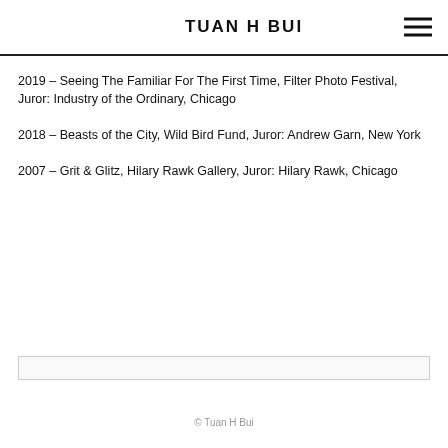TUAN H BUI
2019 – Seeing The Familiar For The First Time, Filter Photo Festival, Juror: Industry of the Ordinary, Chicago
2018 – Beasts of the City, Wild Bird Fund, Juror: Andrew Garn, New York
2007 – Grit & Glitz, Hilary Rawk Gallery, Juror: Hilary Rawk, Chicago
© Tuan H Bui